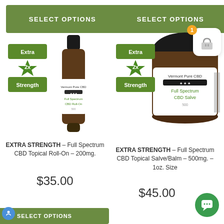[Figure (screenshot): Product listing page for Vermont Pure CBD products showing two items: Extra Strength Full Spectrum CBD Topical Roll-On 200mg at $35.00 and Extra Strength Full Spectrum CBD Topical Salve/Balm 500mg 1oz at $45.00, each with green SELECT OPTIONS buttons, Extra 2x Strength badges, and product photos. Also shows a shopping cart icon with badge showing 1 item, a chat bubble icon, and accessibility icon.]
EXTRA STRENGTH – Full Spectrum CBD Topical Roll-On – 200mg.
$35.00
EXTRA STRENGTH – Full Spectrum CBD Topical Salve/Balm – 500mg. – 1oz. Size
$45.00